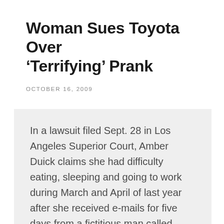Woman Sues Toyota Over ‘Terrifying’ Prank
OCTOBER 16, 2009
In a lawsuit filed Sept. 28 in Los Angeles Superior Court, Amber Duick claims she had difficulty eating, sleeping and going to work during March and April of last year after she received e-mails for five days from a fictitious man called Sebastian Bowler, from England, who said he was on the run from the law, knew her and where she lived, and was